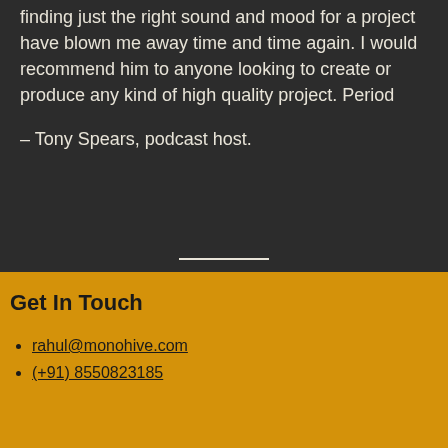finding just the right sound and mood for a project have blown me away time and time again. I would recommend him to anyone looking to create or produce any kind of high quality project. Period
– Tony Spears, podcast host.
Get In Touch
rahul@monohive.com
(+91) 8550823185